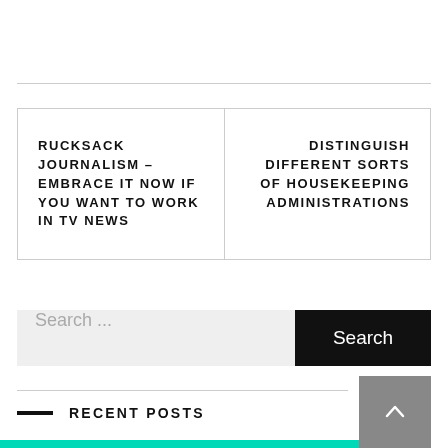RUCKSACK JOURNALISM – EMBRACE IT NOW IF YOU WANT TO WORK IN TV NEWS
DISTINGUISH DIFFERENT SORTS OF HOUSEKEEPING ADMINISTRATIONS
Search ...
Search
RECENT POSTS